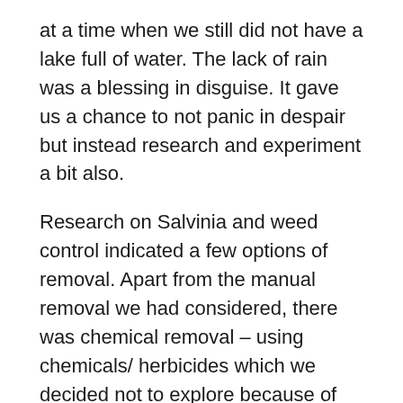at a time when we still did not have a lake full of water. The lack of rain was a blessing in disguise. It gave us a chance to not panic in despair but instead research and experiment a bit also.
Research on Salvinia and weed control indicated a few options of removal. Apart from the manual removal we had considered, there was chemical removal – using chemicals/ herbicides which we decided not to explore because of the possible effect on the water/ aquatic life. Biological treatment using the Salvinia weevil was another option which we kept in mind.
Bruhat Bengaluru Mahanagara Palike (BBMP – which has the responsibility of large-scale deweeding at Puttenahalli Lake), in the meantime said it would undertake to do the deweeding along with another lake – in a couple of months. Being dependent on water, we